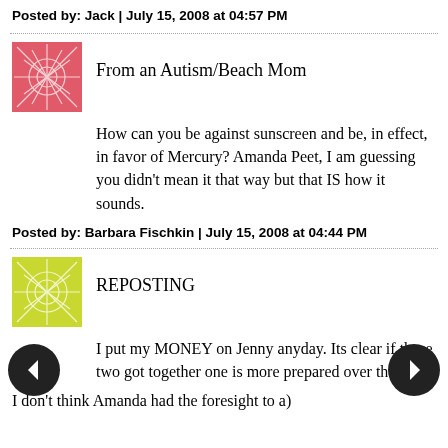Posted by: Jack | July 15, 2008 at 04:57 PM
[Figure (illustration): Pink/red starburst avatar icon for commenter From an Autism/Beach Mom]
From an Autism/Beach Mom
How can you be against sunscreen and be, in effect, in favor of Mercury? Amanda Peet, I am guessing you didn't mean it that way but that IS how it sounds.
Posted by: Barbara Fischkin | July 15, 2008 at 04:44 PM
[Figure (illustration): Yellow-green starburst avatar icon for commenter REPOSTING]
REPOSTING
I put my MONEY on Jenny anyday. Its clear if these two got together one is more prepared over the other.
I don't think Amanda had the foresight to a)